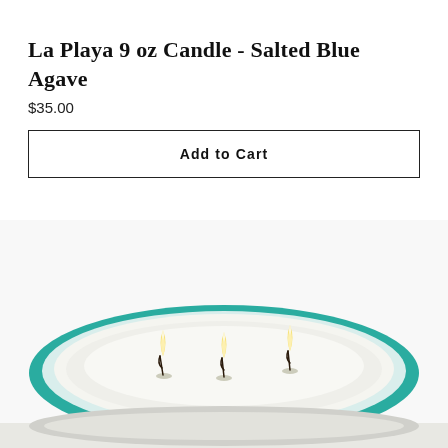La Playa 9 oz Candle - Salted Blue Agave
$35.00
Add to Cart
[Figure (photo): Top-down view of a three-wick candle in a glass vessel with a teal/green rim, showing three lit candle wicks with small flames against white wax]